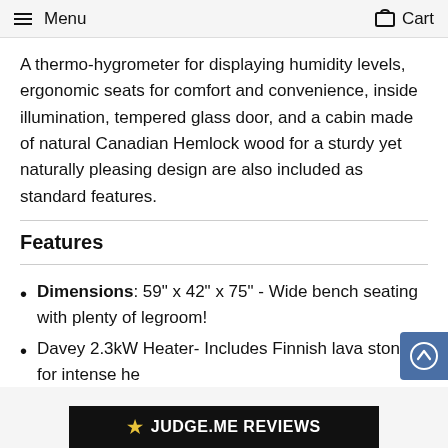Menu  Cart
A thermo-hygrometer for displaying humidity levels, ergonomic seats for comfort and convenience, inside illumination, tempered glass door, and a cabin made of natural Canadian Hemlock wood for a sturdy yet naturally pleasing design are also included as standard features.
Features
Dimensions: 59" x 42" x 75" - Wide bench seating with plenty of legroom!
Davey 2.3kW Heater- Includes Finnish lava stones for intense he...